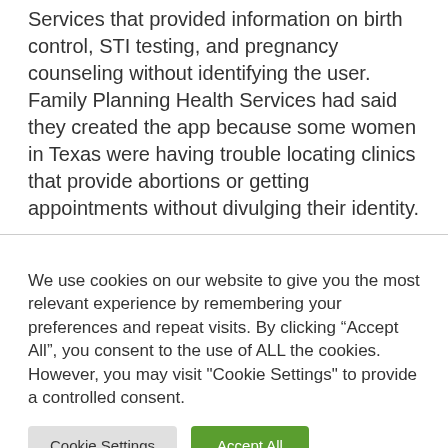Services that provided information on birth control, STI testing, and pregnancy counseling without identifying the user. Family Planning Health Services had said they created the app because some women in Texas were having trouble locating clinics that provide abortions or getting appointments without divulging their identity.
We use cookies on our website to give you the most relevant experience by remembering your preferences and repeat visits. By clicking “Accept All”, you consent to the use of ALL the cookies. However, you may visit "Cookie Settings" to provide a controlled consent.